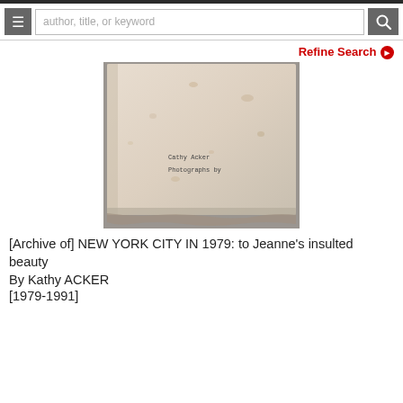[Figure (screenshot): Website search bar with hamburger menu icon on left, text input field reading 'author, title, or keyword', and search magnifier icon on right]
Refine Search ❯
[Figure (photo): Photograph of an aged, worn book or archive folder with text 'Cathy Acker' and 'Photographs by' visible on its cover]
[Archive of] NEW YORK CITY IN 1979: to Jeanne's insulted beauty
By Kathy ACKER
[1979-1991]